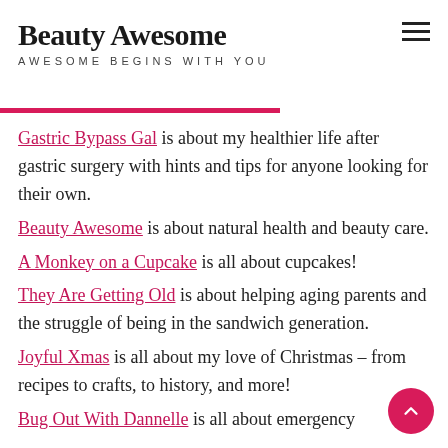Beauty Awesome
AWESOME BEGINS WITH YOU
Gastric Bypass Gal is about my healthier life after gastric surgery with hints and tips for anyone looking for their own.
Beauty Awesome is about natural health and beauty care.
A Monkey on a Cupcake is all about cupcakes!
They Are Getting Old is about helping aging parents and the struggle of being in the sandwich generation.
Joyful Xmas is all about my love of Christmas – from recipes to crafts, to history, and more!
Bug Out With Dannelle is all about emergency